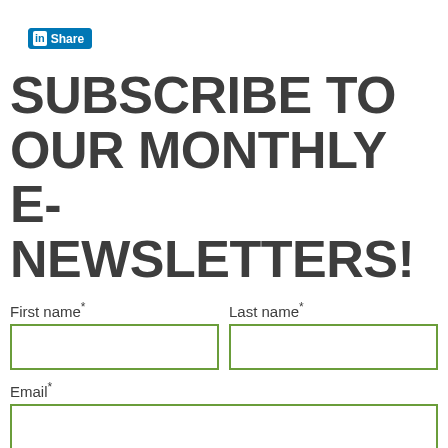[Figure (logo): LinkedIn Share button with 'in' logo in white on blue background and white 'Share' text]
SUBSCRIBE TO OUR MONTHLY E-NEWSLETTERS!
First name*
Last name*
Email*